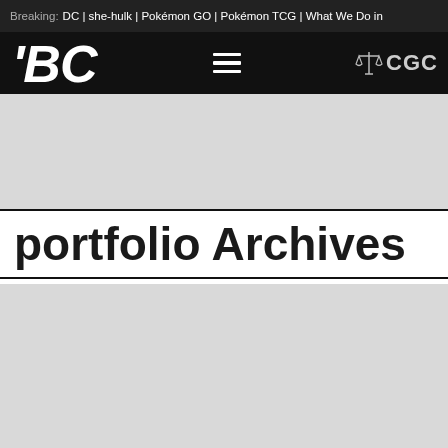Breaking: DC | she-hulk | Pokémon GO | Pokémon TCG | What We Do in
[Figure (logo): BCQ logo (stylized italic letters BCQ in white on black) on the left, hamburger menu icon in center, CGC logo with scales icon on right, all on black navigation bar]
[Figure (other): Light gray advertisement placeholder rectangle]
portfolio Archives
[Figure (other): Light gray advertisement placeholder rectangle]